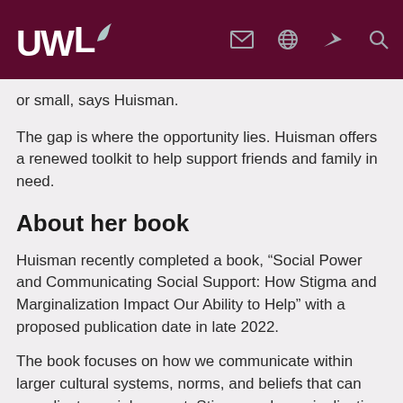UWL [logo with navigation icons]
or small, says Huisman.
The gap is where the opportunity lies. Huisman offers a renewed toolkit to help support friends and family in need.
About her book
Huisman recently completed a book, “Social Power and Communicating Social Support: How Stigma and Marginalization Impact Our Ability to Help” with a proposed publication date in late 2022.
The book focuses on how we communicate within larger cultural systems, norms, and beliefs that can complicate social support. Stigma and marginalization are problems that we talk about in